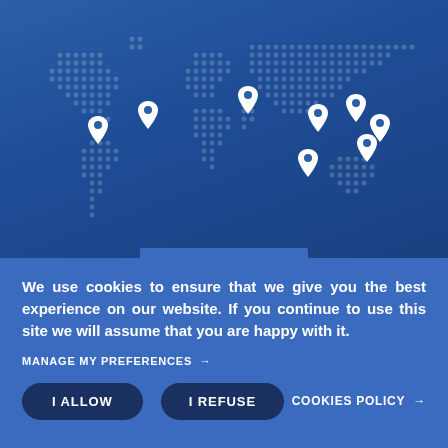[Figure (illustration): World map made of dots on a blue gradient background with white location pin markers placed at various geographic locations]
We use cookies to ensure that we give you the best experience on our website. If you continue to use this site we will assume that you are happy with it.
MANAGE MY PREFERENCES →
I ALLOW
I REFUSE
COOKIES POLICY →